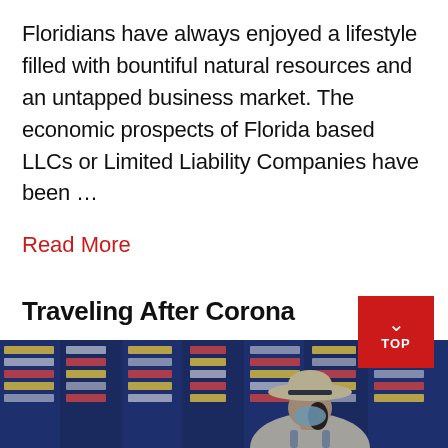Floridians have always enjoyed a lifestyle filled with bountiful natural resources and an untapped business market. The economic prospects of Florida based LLCs or Limited Liability Companies have been …
Read More
Traveling After Corona
[Figure (photo): A person wearing a mask and a wide-brimmed hat looking at a large flight information display board at an airport.]